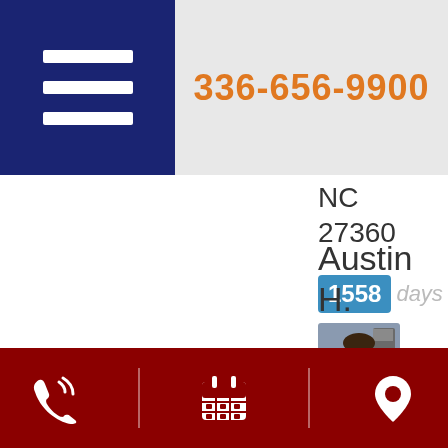336-656-9900
NC
27360
1558 days
[Figure (photo): Headshot photo of agent Austin H. wearing a blue jacket]
Austin H.
Phone | Calendar | Location icons